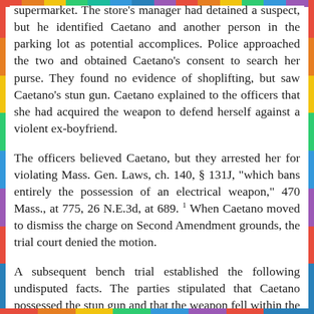supermarket. The store's manager had detained a suspect, but he identified Caetano and another person in the parking lot as potential accomplices. Police approached the two and obtained Caetano's consent to search her purse. They found no evidence of shoplifting, but saw Caetano's stun gun. Caetano explained to the officers that she had acquired the weapon to defend herself against a violent ex-boyfriend.
The officers believed Caetano, but they arrested her for violating Mass. Gen. Laws, ch. 140, § 131J, "which bans entirely the possession of an electrical weapon," 470 Mass., at 775, 26 N.E.3d, at 689. 1 When Caetano moved to dismiss the charge on Second Amendment grounds, the trial court denied the motion.
A subsequent bench trial established the following undisputed facts. The parties stipulated that Caetano possessed the stun gun and that the weapon fell within the statute's prohibition. 2 The